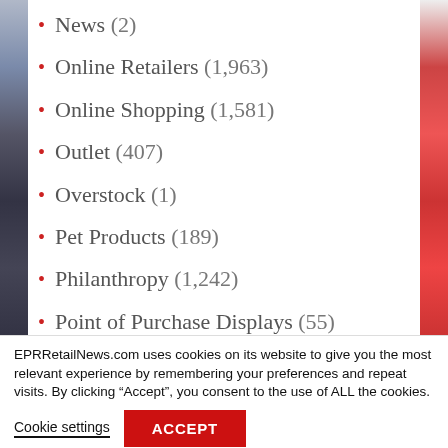News (2)
Online Retailers (1,963)
Online Shopping (1,581)
Outlet (407)
Overstock (1)
Pet Products (189)
Philanthropy (1,242)
Point of Purchase Displays (55)
EPRRetailNews.com uses cookies on its website to give you the most relevant experience by remembering your preferences and repeat visits. By clicking “Accept”, you consent to the use of ALL the cookies.
Cookie settings
ACCEPT